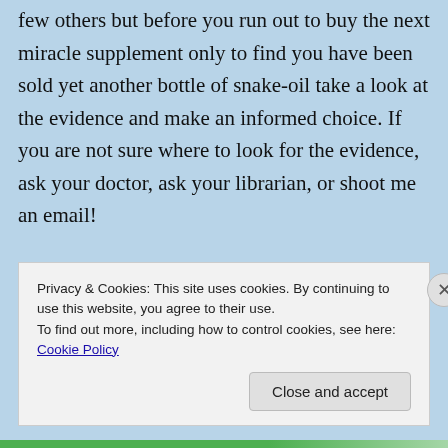few others but before you run out to buy the next miracle supplement only to find you have been sold yet another bottle of snake-oil take a look at the evidence and make an informed choice. If you are not sure where to look for the evidence, ask your doctor, ask your librarian, or shoot me an email!
Privacy & Cookies: This site uses cookies. By continuing to use this website, you agree to their use.
To find out more, including how to control cookies, see here: Cookie Policy